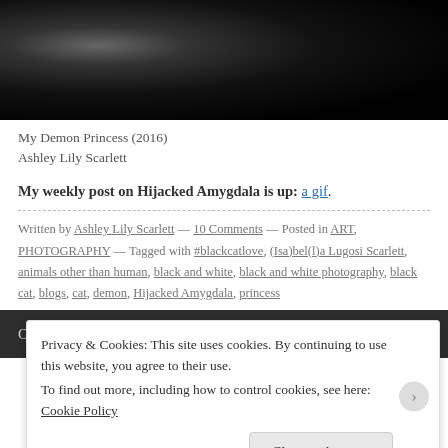[Figure (photo): Black and white photograph, close-up of dark textured surface, likely a black cat, against dark background.]
My Demon Princess (2016)
Ashley Lily Scarlett
My weekly post on Hijacked Amygdala is up: a gif.
Written by Ashley Lily Scarlett — 10 Comments — Posted in ART, PHOTOGRAPHY — Tagged with #blackcatlove, (Isa)bel(l)a Lugosi Scarlett, animals other than human, black and white, black and white photography, black cat, blogs, cat, demon, Hijacked Amygdala, princess
Older posts
Privacy & Cookies: This site uses cookies. By continuing to use this website, you agree to their use.
To find out more, including how to control cookies, see here: Cookie Policy
Close and accept